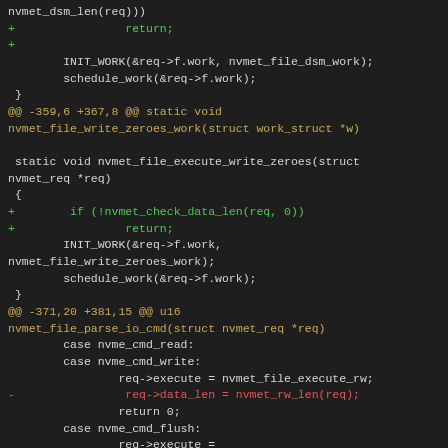Code diff showing nvmet file DSM and write zeroes functions with added data length checks and removed data_len assignments
[Figure (screenshot): Git diff of C kernel code showing additions of nvmet_check_data_len calls and removal of req->data_len assignments in nvmet_file_execute_dsm, nvmet_file_execute_write_zeroes, and nvmet_file_parse_io_cmd functions]